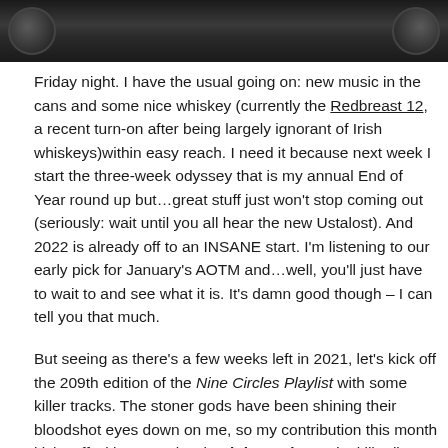[Figure (photo): Dark photograph strip showing what appears to be audio/music equipment or decorative elements against a dark background]
Friday night. I have the usual going on: new music in the cans and some nice whiskey (currently the Redbreast 12, a recent turn-on after being largely ignorant of Irish whiskeys)within easy reach. I need it because next week I start the three-week odyssey that is my annual End of Year round up but…great stuff just won't stop coming out (seriously: wait until you all hear the new Ustalost). And 2022 is already off to an INSANE start. I'm listening to our early pick for January's AOTM and…well, you'll just have to wait to and see what it is. It's damn good though – I can tell you that much.
But seeing as there's a few weeks left in 2021, let's kick off the 209th edition of the Nine Circles Playlist with some killer tracks. The stoner gods have been shining their bloodshot eyes down on me, so my contribution this month kicks off with some classic High on Fire and a killer live track from Crown Lands, a band that has me scrambling to find opportunities to tell everyone how good the peculiar mix of Rush and stoner prog they're putting out in the universe is. Josh